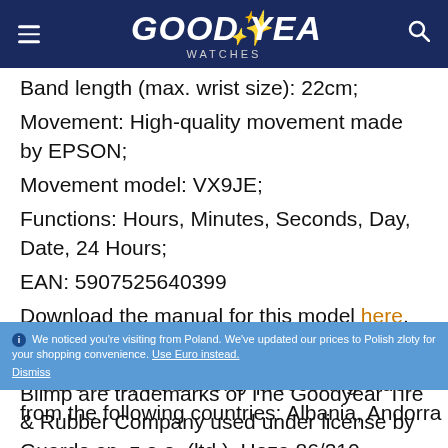GOODYEAR WATCHES
Band length (max. wrist size): 22cm; Movement: High-quality movement made by EPSON; Movement model: VX9JE; Functions: Hours, Minutes, Seconds, Day, Date, 24 Hours; EAN: 5907525640399 Download the manual for this model here.
Goodyear (and winged foot design) and Blimp are trademarks of The Goodyear Tire & Rubber Company used under license by Guardo sp. z o.o. (ltd.), Hoza 86/210, Warsaw, ... Rubber Company
We noticed you're visiting from Poland. We've updated our prices to Polish zloty for your shopping convenience. Use Euro instead. Dismiss
Please note, we are only processing orders from the following countries: Albania, Andorra